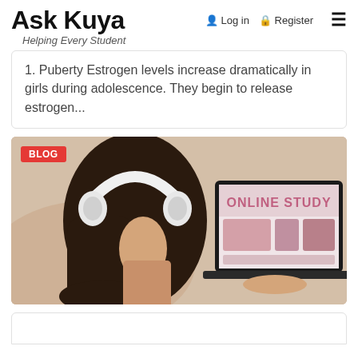Ask Kuya — Helping Every Student — Login — Register
1. Puberty Estrogen levels increase dramatically in girls during adolescence. They begin to release estrogen...
[Figure (photo): A young woman with long dark hair wearing white headphones viewed from behind, looking at a laptop screen displaying 'ONLINE STUDY'. A red BLOG badge is in the top left corner.]